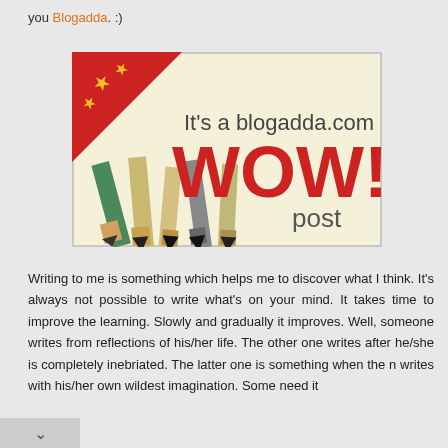you Blogadda. :)
[Figure (illustration): Blogadda.com WOW! post badge — a cream/beige rectangular badge with a red ribbon corner bearing gold stars, large dark-gray text 'It's a blogadda.com', large bold red text 'WOW!', dark-gray text 'post', and pencils in the background at the bottom.]
Writing to me is something which helps me to discover what I think. It's always not possible to write what's on your mind. It takes time to improve the learning. Slowly and gradually it improves. Well, someone writes from reflections of his/her life. The other one writes after he/she is completely inebriated. The latter one is something when the n writes with his/her own wildest imagination. Some need it